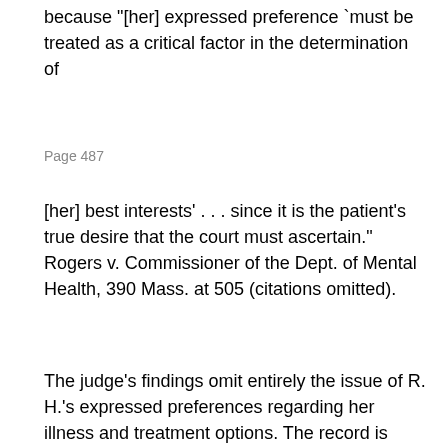because "[her] expressed preference `must be treated as a critical factor in the determination of
Page 487
[her] best interests' . . . since it is the patient's true desire that the court must ascertain." Rogers v. Commissioner of the Dept. of Mental Health, 390 Mass. at 505 (citations omitted).
The judge's findings omit entirely the issue of R. H.'s expressed preferences regarding her illness and treatment options. The record is devoid of evidence that any attempt was ever made to discuss those matters with her. Neither the judge nor the guardian ad litem appears to have inquired beyond the conceded fact of R. H.'s mental incompetence. Decisional authority, however, requires further probing, since even a legally